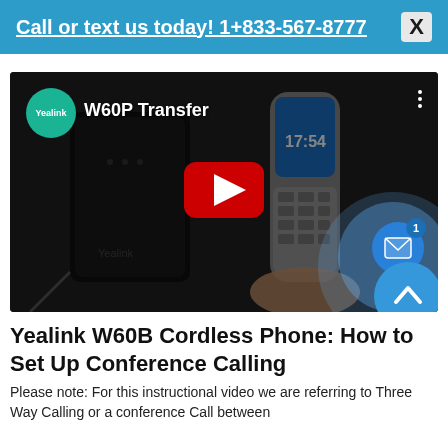Call or text us today! 1+833-567-8777
[Figure (screenshot): YouTube video thumbnail for Yealink W60P Transfer showing Yealink cordless phone and base station with a red play button overlay. Video title reads 'W60P Transfer' with Yealink logo.]
Yealink W60B Cordless Phone: How to Set Up Conference Calling
Please note: For this instructional video we are referring to Three Way Calling or a conference Call between